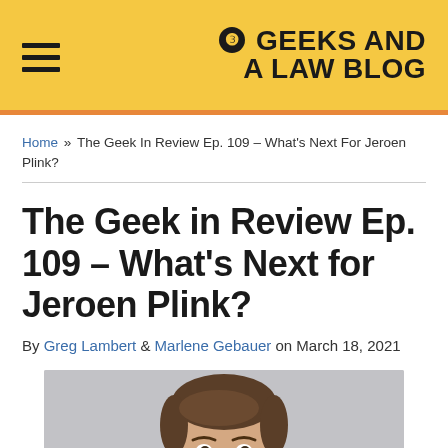3 GEEKS AND A LAW BLOG
Home » The Geek In Review Ep. 109 – What's Next For Jeroen Plink?
The Geek in Review Ep. 109 – What's Next for Jeroen Plink?
By Greg Lambert & Marlene Gebauer on March 18, 2021
[Figure (photo): Headshot photo of Jeroen Plink, a man with short brown hair against a light gray background]